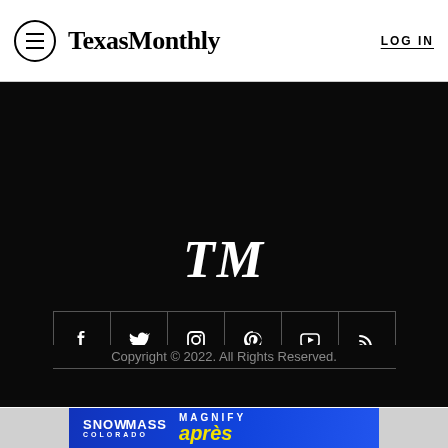TexasMonthly — LOG IN
[Figure (screenshot): Dark black area — website content area]
[Figure (logo): TM italic serif logo in white on black background]
[Figure (other): Social media icons row: Facebook, Twitter, Instagram, Pinterest, YouTube, RSS — white icons in bordered grid boxes on black background]
Copyright © 2022. All Rights Reserved.
[Figure (other): Advertisement banner: SNOWMASS COLORADO MAGNIFY après]